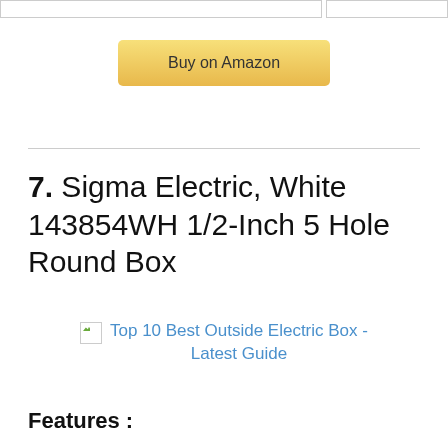[Figure (other): Partial view of a table or comparison widget with two bordered boxes visible at the top of the page]
Buy on Amazon
7. Sigma Electric, White 143854WH 1/2-Inch 5 Hole Round Box
[Figure (other): Broken image placeholder with link text: Top 10 Best Outside Electric Box - Latest Guide]
Features :